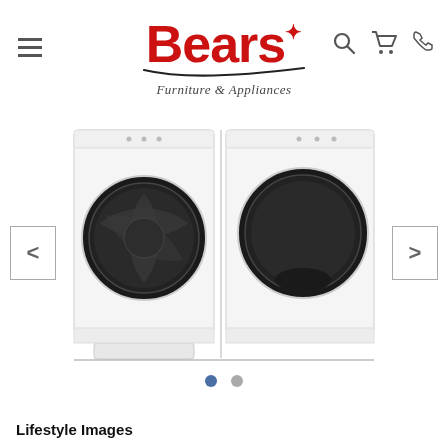[Figure (logo): Bears Furniture & Appliances logo with navigation icons (hamburger menu, search, cart, phone)]
[Figure (photo): Front-loading washer and dryer set in white, side by side, with large black circular doors. Left/right navigation arrows visible on sides. Two pagination dots below image.]
Lifestyle Images